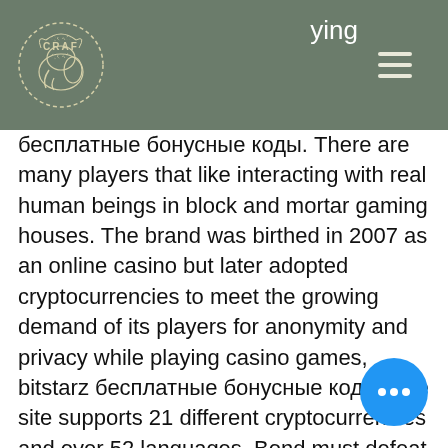CRAF [logo]
бесплатные бонусные коды. There are many players that like interacting with real human beings in block and mortar gaming houses. The brand was birthed in 2007 as an online casino but later adopted cryptocurrencies to meet the growing demand of its players for anonymity and privacy while playing casino games, bitstarz бесплатные бонусные коды. The site supports 21 different cryptocurrencies and over 52 languages. Bond must defeat a private banker funding terrorists in a high-stakes game of poker at Casino Royale, Montenegro. Get More From IMDb, bitstarz бесплатные вращения no deposit. There is also an excellent bonus for new users who make their first deposit, bitstarz бесплатные вращения code. DETROIT , March 21, 2021 /PRNewswire/ ' Bitcoin and cryptocurrencies